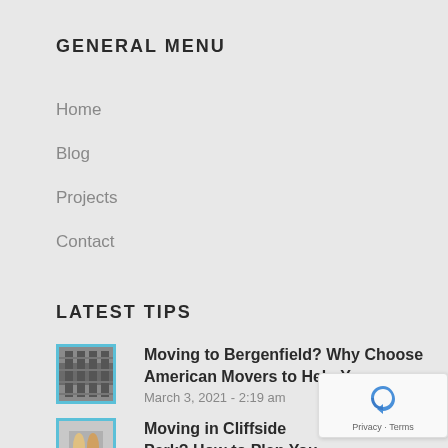GENERAL MENU
Home
Blog
Projects
Contact
LATEST TIPS
Moving to Bergenfield? Why Choose American Movers to Help You
March 3, 2021 - 2:19 am
Moving in Cliffside Park? How to Plan Your Relocation
March 1, 2021 - 2:15 am